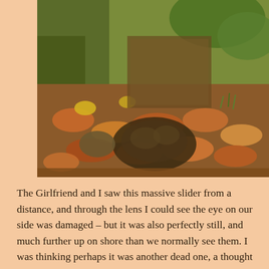[Figure (photo): Close-up photograph of a large turtle (slider) partially hidden among fallen autumn leaves on the ground near a mossy log. The turtle's head and shell are visible among brown, orange, and yellow leaves with green moss and grass in the background.]
The Girlfriend and I saw this massive slider from a distance, and through the lens I could see the eye on our side was damaged – but it was also perfectly still, and much further up on shore than we normally see them. I was thinking perhaps it was another dead one, a thought that remained right up until I was standing directly over it and finally saw movement. I could see that both eyes were either missing or ruptured, rendering it totally blind, and I'm more than suspicious this is from the idiots misapplying the copper sulfate for weed control; I've said earlier that the number of dead turtles that we've seen has been disturbing, especially since we rarely find any. It's been close to a dozen this